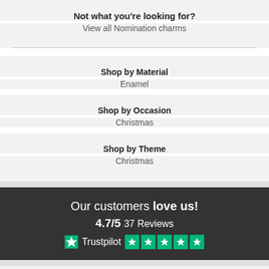Not what you're looking for?
View all Nomination charms
Shop by Material
Enamel
Shop by Occasion
Christmas
Shop by Theme
Christmas
Our customers love us! 4.7/5 37 Reviews Trustpilot
INFORMATION